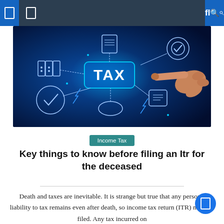[Figure (photo): A glowing blue digital tax concept image showing a hand pointing at a glowing TAX button with various financial/technology icons connected by circuit lines, on a dark blue background.]
Income Tax
Key things to know before filing an Itr for the deceased
Death and taxes are inevitable. It is strange but true that any person's liability to tax remains even after death, so income tax return (ITR) must be filed. Any tax incurred on